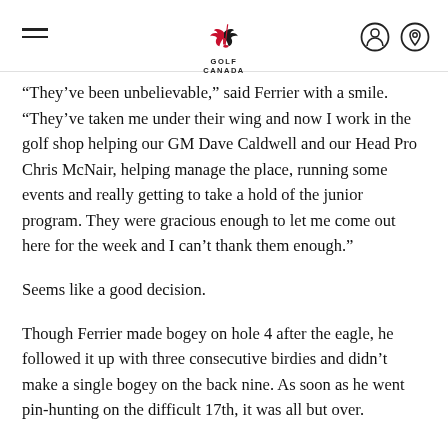Golf Canada
“They’ve been unbelievable,” said Ferrier with a smile. “They’ve taken me under their wing and now I work in the golf shop helping our GM Dave Caldwell and our Head Pro Chris McNair, helping manage the place, running some events and really getting to take a hold of the junior program. They were gracious enough to let me come out here for the week and I can’t thank them enough.”
Seems like a good decision.
Though Ferrier made bogey on hole 4 after the eagle, he followed it up with three consecutive birdies and didn’t make a single bogey on the back nine. As soon as he went pin-hunting on the difficult 17th, it was all but over.